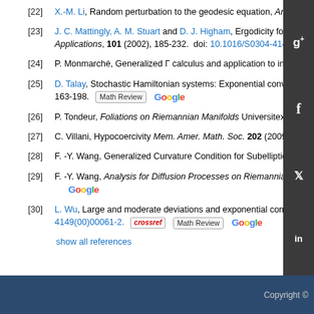[22] X.-M. Li, Random perturbation to the geodesic equation, Annal of Prob., 44
[23] J. C. Mattingly, A. M. Stuart and D. J. Higham, Ergodicity for SDEs and appr Applications, 101 (2002), 185-232. doi: 10.1016/S0304-4149(02)00150-3.
[24] P. Monmarché, Generalized Γ calculus and application to interacting particle
[25] D. Talay, Stochastic Hamiltonian systems: Exponential convergence to the i 163-198.
[26] P. Tondeur, Foliations on Riemannian Manifolds Universitext. Spring
[27] C. Villani, Hypocoercivity Mem. Amer. Math. Soc. 202 (2009), iv+14
[28] F. -Y. Wang, Generalized Curvature Condition for Subelliptic Diffusio
[29] F. -Y. Wang, Analysis for Diffusion Processes on Riemannian Manif
[30] L. Wu, Large and moderate deviations and exponential convergence 4149(00)00061-2.
show all references
Copyright ©